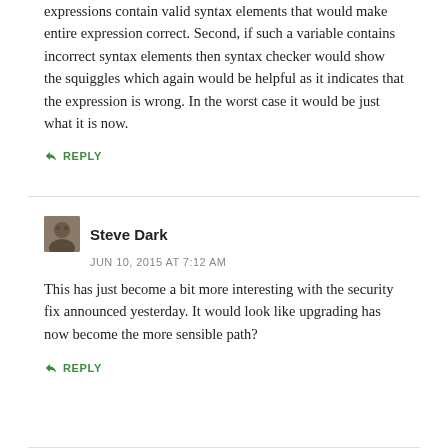expressions contain valid syntax elements that would make entire expression correct. Second, if such a variable contains incorrect syntax elements then syntax checker would show the squiggles which again would be helpful as it indicates that the expression is wrong. In the worst case it would be just what it is now.
↳ REPLY
Steve Dark
JUN 10, 2015 AT 7:12 AM
This has just become a bit more interesting with the security fix announced yesterday. It would look like upgrading has now become the more sensible path?
↳ REPLY